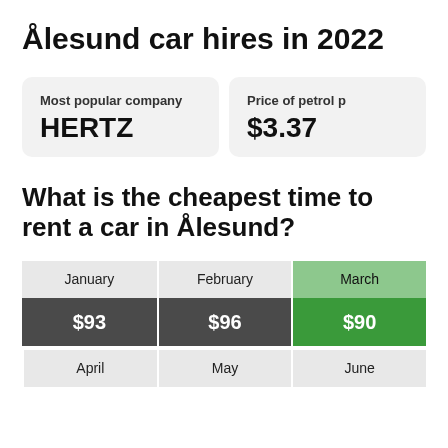Ålesund car hires in 2022
Most popular company: HERTZ
Price of petrol p: $3.37
What is the cheapest time to rent a car in Ålesund?
| January | February | March | April | May | June |
| --- | --- | --- | --- | --- | --- |
| $93 | $96 | $90 |  |  |  |